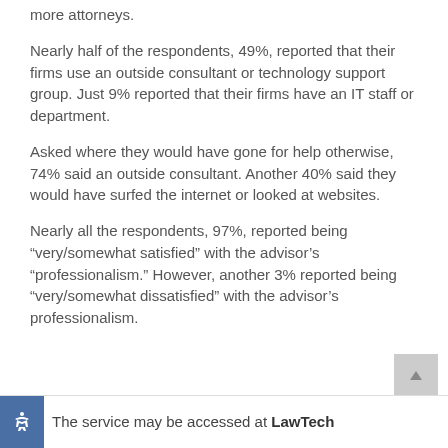more attorneys.
Nearly half of the respondents, 49%, reported that their firms use an outside consultant or technology support group. Just 9% reported that their firms have an IT staff or department.
Asked where they would have gone for help otherwise, 74% said an outside consultant. Another 40% said they would have surfed the internet or looked at websites.
Nearly all the respondents, 97%, reported being “very/somewhat satisfied” with the advisor’s “professionalism.” However, another 3% reported being “very/somewhat dissatisfied” with the advisor’s professionalism.
The service may be accessed at LawTech